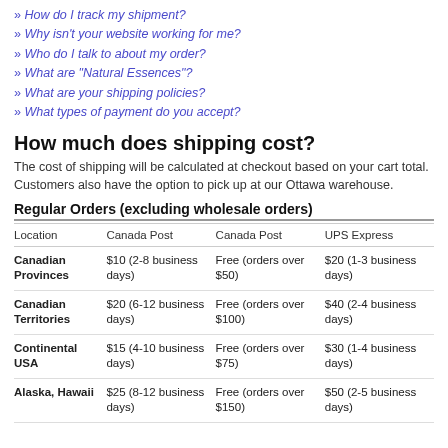How do I track my shipment?
Why isn't your website working for me?
Who do I talk to about my order?
What are "Natural Essences"?
What are your shipping policies?
What types of payment do you accept?
How much does shipping cost?
The cost of shipping will be calculated at checkout based on your cart total. Customers also have the option to pick up at our Ottawa warehouse.
Regular Orders (excluding wholesale orders)
| Location | Canada Post | Canada Post | UPS Express |
| --- | --- | --- | --- |
| Canadian Provinces | $10 (2-8 business days) | Free (orders over $50) | $20 (1-3 business days) |
| Canadian Territories | $20 (6-12 business days) | Free (orders over $100) | $40 (2-4 business days) |
| Continental USA | $15 (4-10 business days) | Free (orders over $75) | $30 (1-4 business days) |
| Alaska, Hawaii | $25 (8-12 business days) | Free (orders over $150) | $50 (2-5 business days) |